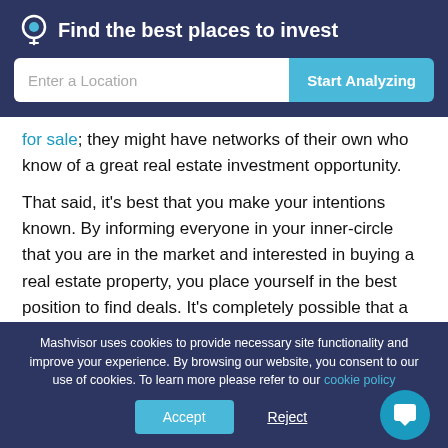Find the best places to invest
for sale; they might have networks of their own who know of a great real estate investment opportunity.
That said, it's best that you make your intentions known. By informing everyone in your inner-circle that you are in the market and interested in buying a real estate property, you place yourself in the best position to find deals. It's completely possible that a coworker, for example, will know
Mashvisor uses cookies to provide necessary site functionality and improve your experience. By browsing our website, you consent to our use of cookies. To learn more please refer to our cookie policy
Accept
Reject